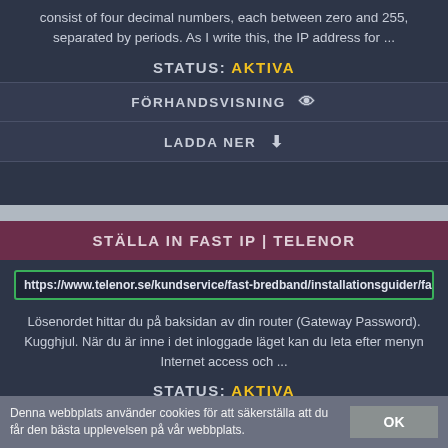consist of four decimal numbers, each between zero and 255, separated by periods. As I write this, the IP address for ...
STATUS: AKTIVA
FÖRHANDSVISNING 👁
LADDA NER ⬇
STÄLLA IN FAST IP | TELENOR
https://www.telenor.se/kundservice/fast-bredband/installationsguider/fa
Lösenordet hittar du på baksidan av din router (Gateway Password). Kugghjul. När du är inne i det inloggade läget kan du leta efter menyn Internet access och ...
STATUS: AKTIVA
Denna webbplats använder cookies för att säkerställa att du får den bästa upplevelsen på vår webbplats.